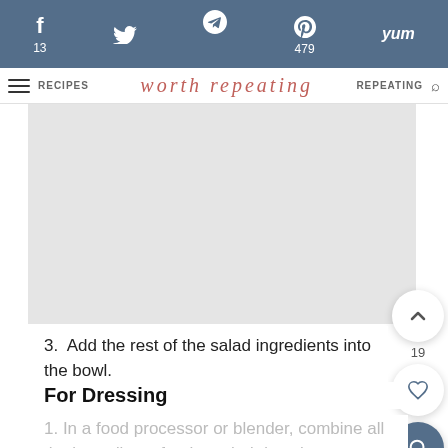f 13 | 479 | yum | RECIPES | worth repeating | REPEATING
[Figure (screenshot): Gray placeholder image area]
3. Add the rest of the salad ingredients into the bowl.
For Dressing
1. In a food processor or blender, combine all the ingredients for the salad dressing